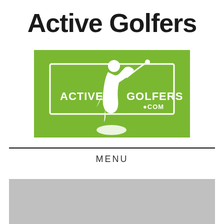Active Golfers
[Figure (logo): Active Golfers logo on green background with white text reading ACTIVE GOLFERS .COM and a silhouette of a golfer swinging]
MENU
[Figure (photo): Gray placeholder image area at the bottom of the page]